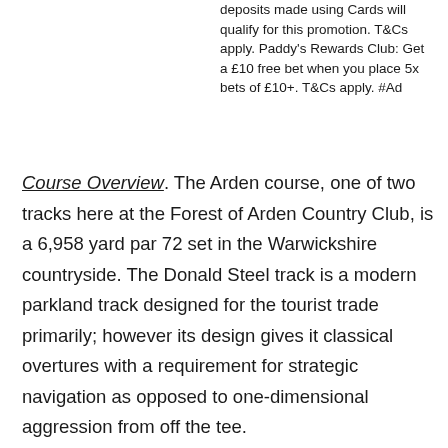deposits made using Cards will qualify for this promotion. T&Cs apply. Paddy's Rewards Club: Get a £10 free bet when you place 5x bets of £10+. T&Cs apply. #Ad
Course Overview. The Arden course, one of two tracks here at the Forest of Arden Country Club, is a 6,958 yard par 72 set in the Warwickshire countryside. The Donald Steel track is a modern parkland track designed for the tourist trade primarily; however its design gives it classical overtures with a requirement for strategic navigation as opposed to one-dimensional aggression from off the tee.
The front 9 is the shorter of the two halves at a shade under 3,400 yards and contains the most water on the course; the back 9 opens up to a more heathland style and presents a